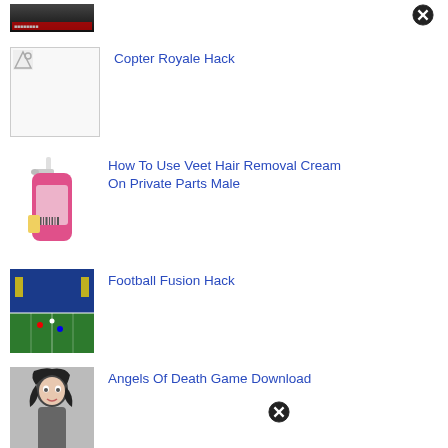[Figure (screenshot): Partial thumbnail of a dark/game screenshot at top, with a close/remove button (X circle)]
[Figure (photo): Placeholder image thumbnail for Copter Royale Hack]
Copter Royale Hack
[Figure (photo): Pink pump bottle of Veet hair removal cream]
How To Use Veet Hair Removal Cream On Private Parts Male
[Figure (screenshot): Football stadium/field screenshot for Football Fusion Hack]
Football Fusion Hack
[Figure (illustration): Anime character illustration for Angels Of Death Game Download]
Angels Of Death Game Download